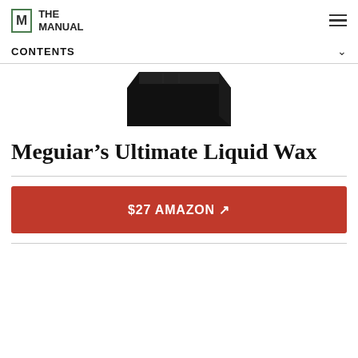The Manual
CONTENTS
[Figure (photo): Product image: a black rectangular container/box of Meguiar's Ultimate Liquid Wax, cropped, shown from above at slight angle]
Meguiar’s Ultimate Liquid Wax
$27 AMAZON ↗